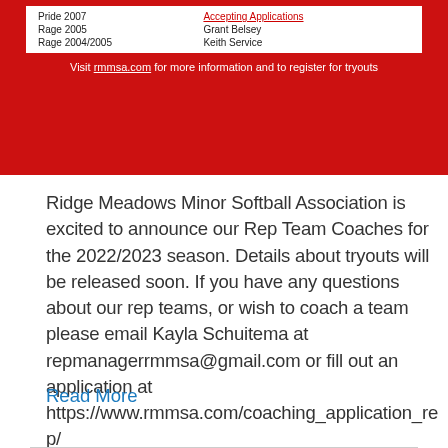[Figure (other): Red banner with table listing Ridge Meadows Minor Softball Association rep team coaches and a footer with rmmsa.com link]
Ridge Meadows Minor Softball Association is excited to announce our Rep Team Coaches for the 2022/2023 season. Details about tryouts will be released soon. If you have any questions about our rep teams, or wish to coach a team please email Kayla Schuitema at repmanagerrmmsa@gmail.com or fill out an application at https://www.rmmsa.com/coaching_application_rep/
Read More